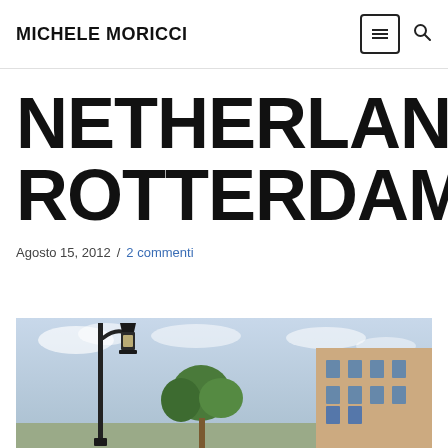MICHELE MORICCI
NETHERLANDS| ROTTERDAM
Agosto 15, 2012 / 2 commenti
[Figure (photo): Street scene in Rotterdam with a classic lamp post, trees, and building in background under a partly cloudy sky]